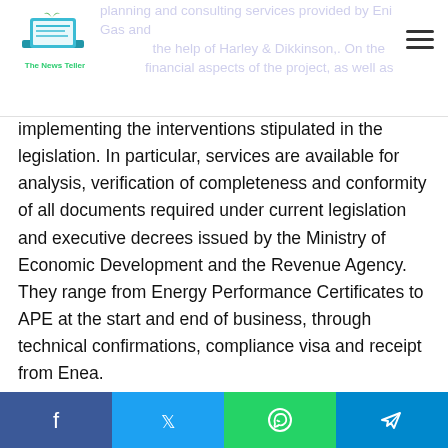The News Teller [logo header with navigation]
planning and consulting services provided by Eni Gas and the help of Harley & Dikkinson,. On the financial aspects of the project, as well as implementing the interventions stipulated in the legislation. In particular, services are available for analysis, verification of completeness and conformity of all documents required under current legislation and executive decrees issued by the Ministry of Economic Development and the Revenue Agency. They range from Energy Performance Certificates to APE at the start and end of business, through technical confirmations, compliance visa and receipt from Enea.
Additionally, it is also provided Consulting services for designing the works that clients intend to undertake, to verify their correct implementation And fulfill the regulatory requirements, leading to assistance in transferring the due tax
Social share bar: Facebook, Twitter, WhatsApp, Telegram